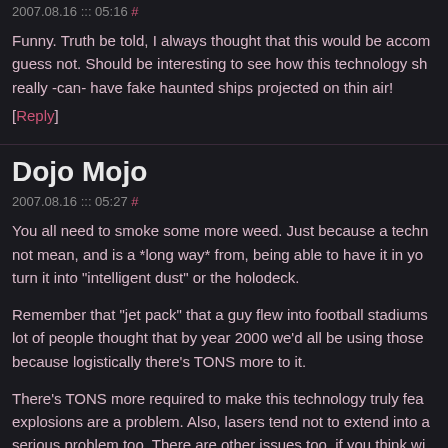2007.08.16 ::: 05:16 #
Funny. Truth be told, I always thought that this would be accom... guess not. Should be interesting to see how this technology sh... really -can- have fake haunted ships projected on thin air!
[Reply]
Dojo Mojo
2007.08.16 ::: 05:27 #
You all need to smoke some more weed. Just because a techn... not mean, and is a *long way* from, being able to have it in yo... turn it into "intelligent dust" or the holodeck.
Remember that "jet pack" that a guy flew into football stadiums... lot of people thought that by year 2000 we'd all be using those... because logistically there's TONS more to it.
There's TONS more required to make this technology truly fea... explosions are a problem. Also, lasers tend not to extend into a... serious problem too. There are other issues too, if you think wi... smoke.
Dreaming is easy. Engineering is hard.